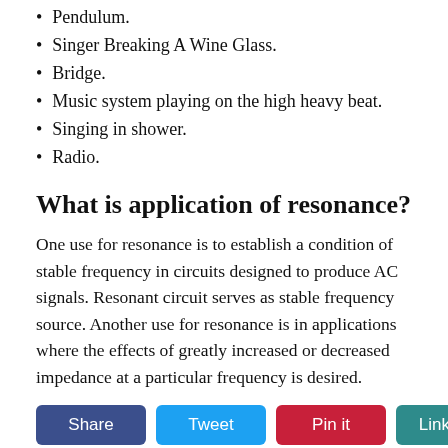Pendulum.
Singer Breaking A Wine Glass.
Bridge.
Music system playing on the high heavy beat.
Singing in shower.
Radio.
What is application of resonance?
One use for resonance is to establish a condition of stable frequency in circuits designed to produce AC signals. Resonant circuit serves as stable frequency source. Another use for resonance is in applications where the effects of greatly increased or decreased impedance at a particular frequency is desired.
More from The Question & Answer (Q&A)